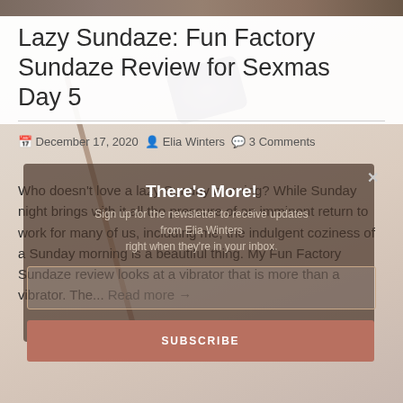[Figure (photo): Top strip of a photo showing what appears to be a decorative pen/writing instrument on a wooden surface]
Lazy Sundaze: Fun Factory Sundaze Review for Sexmas Day 5
December 17, 2020  Elia Winters  3 Comments
Who doesn't love a lazy Sunday morning? While Sunday night brings with it all the pressure of an imminent return to work for many of us, including me, the indulgent coziness of a Sunday morning is a beautiful thing. My Fun Factory Sundaze review looks at a vibrator that is more than a vibrator. The... Read more →
[Figure (screenshot): Newsletter popup overlay with title 'There's More!' and subscription form with email input and SUBSCRIBE button]